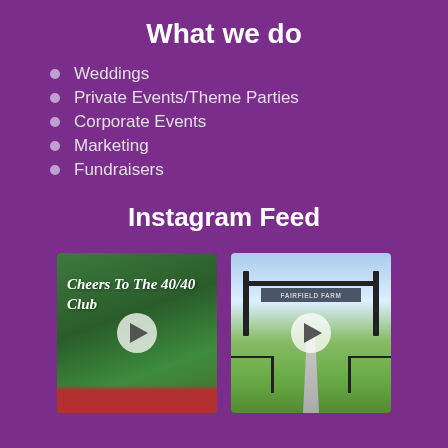What we do
Weddings
Private Events/Theme Parties
Corporate Events
Marketing
Fundraisers
Instagram Feed
[Figure (photo): Instagram video thumbnail of a green hedge wall with neon text reading 'Cheers To The 40/40 Club', with a play button overlay and red carpet at the bottom]
[Figure (photo): Instagram video thumbnail of a farm entrance gate with a sign reading 'FAIRFIELD FARM', green fields visible in the background, with a play button overlay]